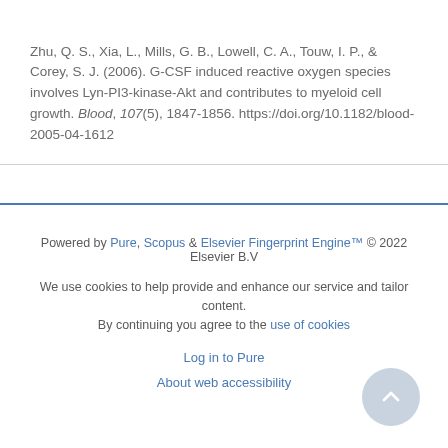Zhu, Q. S., Xia, L., Mills, G. B., Lowell, C. A., Touw, I. P., & Corey, S. J. (2006). G-CSF induced reactive oxygen species involves Lyn-PI3-kinase-Akt and contributes to myeloid cell growth. Blood, 107(5), 1847-1856. https://doi.org/10.1182/blood-2005-04-1612
Powered by Pure, Scopus & Elsevier Fingerprint Engine™ © 2022 Elsevier B.V
We use cookies to help provide and enhance our service and tailor content. By continuing you agree to the use of cookies
Log in to Pure
About web accessibility